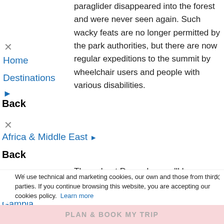paraglider disappeared into the forest and were never seen again. Such wacky feats are no longer permitted by the park authorities, but there are now regular expeditions to the summit by wheelchair users and people with various disabilities.
Home
Destinations ▶
Back
Africa & Middle East ▶
Back
Throughout December, we'll be focusing on the unique things you can see and do in Tanzania, from climbing Mount Kilimanjaro to the best beaches in Zanzibar. Read all of our
Egypt
Gambia
Israel
Jordan
Kenya
We use technical and marketing cookies, our own and those from third parties. If you continue browsing this website, you are accepting our cookies policy. Learn more
PLAN & BOOK MY TRIP